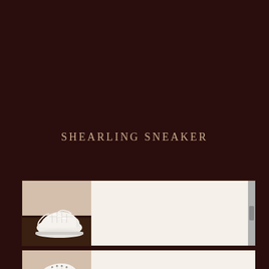SHEARLING SNEAKER
[Figure (photo): Product listing card showing a white shearling sneaker on a dark wooden surface against a beige wall background. Two card rows visible, partially cropped.]